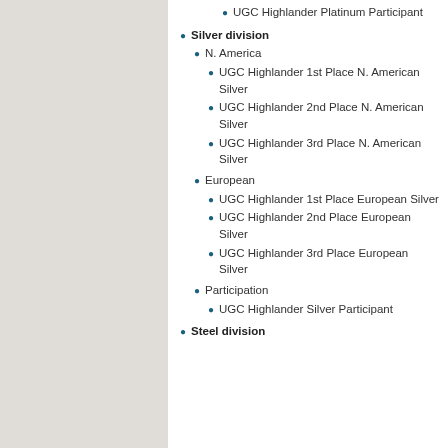UGC Highlander Platinum Participant
Silver division
N. America
UGC Highlander 1st Place N. American Silver
UGC Highlander 2nd Place N. American Silver
UGC Highlander 3rd Place N. American Silver
European
UGC Highlander 1st Place European Silver
UGC Highlander 2nd Place European Silver
UGC Highlander 3rd Place European Silver
Participation
UGC Highlander Silver Participant
Steel division